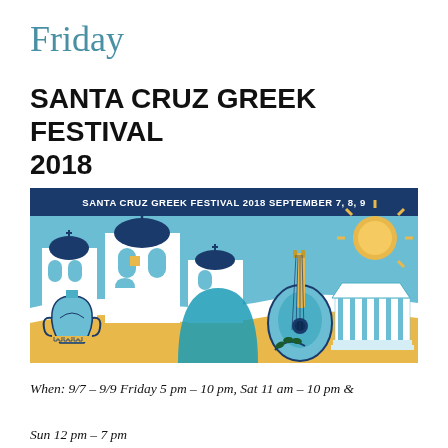Friday
SANTA CRUZ GREEK FESTIVAL 2018
[Figure (illustration): Santa Cruz Greek Festival 2018 banner illustration featuring Greek Orthodox churches, a bouzouki instrument, a Greek temple, a ceramic urn, a sun, and olive branches. Header text reads: SANTA CRUZ GREEK FESTIVAL 2018   SEPTEMBER 7, 8, 9]
When: 9/7 – 9/9 Friday 5 pm – 10 pm, Sat 11 am – 10 pm & Sun 12 pm – 7 pm
Where: Prophet Elias Greek Orthodox Church